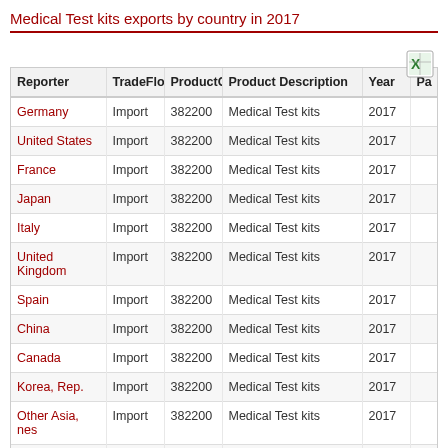Medical Test kits exports by country in 2017
| Reporter | TradeFlow | ProductCode | Product Description | Year | Pa |
| --- | --- | --- | --- | --- | --- |
| Germany | Import | 382200 | Medical Test kits | 2017 |  |
| United States | Import | 382200 | Medical Test kits | 2017 |  |
| France | Import | 382200 | Medical Test kits | 2017 |  |
| Japan | Import | 382200 | Medical Test kits | 2017 |  |
| Italy | Import | 382200 | Medical Test kits | 2017 |  |
| United Kingdom | Import | 382200 | Medical Test kits | 2017 |  |
| Spain | Import | 382200 | Medical Test kits | 2017 |  |
| China | Import | 382200 | Medical Test kits | 2017 |  |
| Canada | Import | 382200 | Medical Test kits | 2017 |  |
| Korea, Rep. | Import | 382200 | Medical Test kits | 2017 |  |
| Other Asia, nes | Import | 382200 | Medical Test kits | 2017 |  |
| Turkey | Import | 382200 | Medical Test kits | 2017 |  |